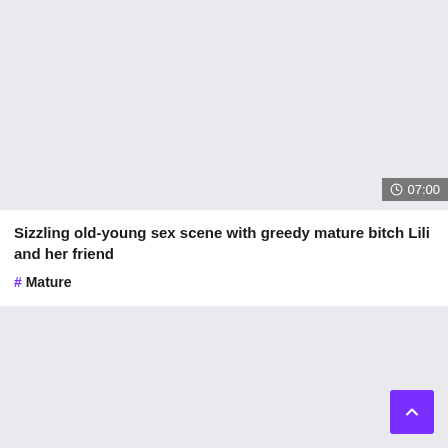[Figure (screenshot): Video thumbnail placeholder area with light gray background]
07:00
Sizzling old-young sex scene with greedy mature bitch Lili and her friend
# Mature